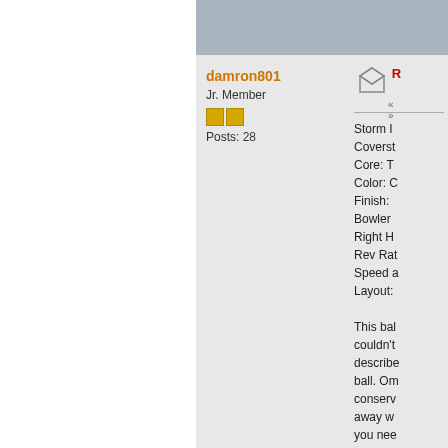damron801
Jr. Member
Posts: 28
Storm I
Coverst
Core: T
Color: C
Finish:
Bowler
Right H
Rev Rat
Speed a
Layout:

This bal
couldn't
describe
ball. Om
conserv
away w
you nee
it tracks
tournam